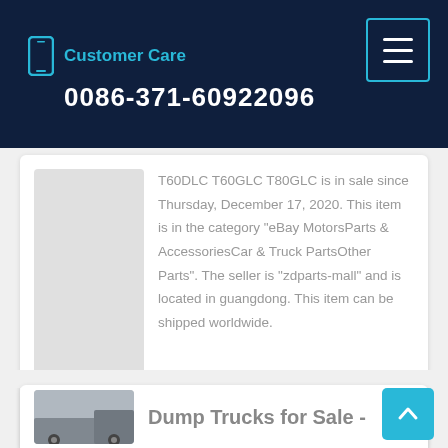Customer Care 0086-371-60922096
T60DLC T60GLC T80GLC  is in sale since Thursday, December 17, 2020. This item is in the category "eBay MotorsParts & AccessoriesCar & Truck PartsOther Parts". The seller is "zdparts-mall" and is located in guangdong. This item can be shipped worldwide.
Learn More
Dump Trucks for Sale -